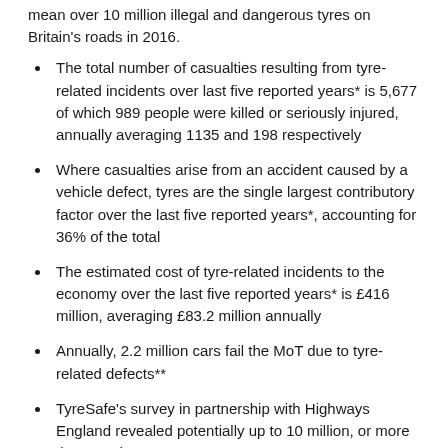mean over 10 million illegal and dangerous tyres on Britain's roads in 2016.
The total number of casualties resulting from tyre-related incidents over last five reported years* is 5,677 of which 989 people were killed or seriously injured, annually averaging 1135 and 198 respectively
Where casualties arise from an accident caused by a vehicle defect, tyres are the single largest contributory factor over the last five reported years*, accounting for 36% of the total
The estimated cost of tyre-related incidents to the economy over the last five reported years* is £416 million, averaging £83.2 million annually
Annually, 2.2 million cars fail the MoT due to tyre-related defects**
TyreSafe's survey in partnership with Highways England revealed potentially up to 10 million, or more than one-in-